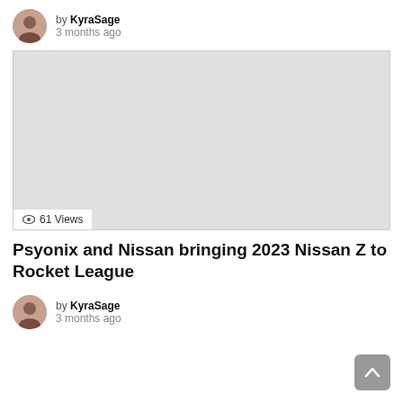by KyraSage
3 months ago
[Figure (photo): Thumbnail image placeholder (light gray rectangle). Shows 61 Views badge at bottom left.]
Psyonix and Nissan bringing 2023 Nissan Z to Rocket League
by KyraSage
3 months ago